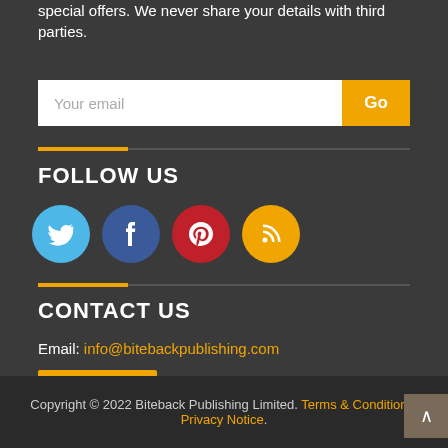special offers. We never share your details with third parties.
[Figure (screenshot): Email subscription input field with 'Your email' placeholder and orange 'Go' button]
FOLLOW US
[Figure (infographic): Social media icons: Twitter (blue), Facebook (dark blue), Pinterest (red), RSS (orange)]
CONTACT US
Email: info@bitebackpublishing.com
Contact us →
Copyright © 2022 Biteback Publishing Limited. Terms & Conditions. Privacy Notice.